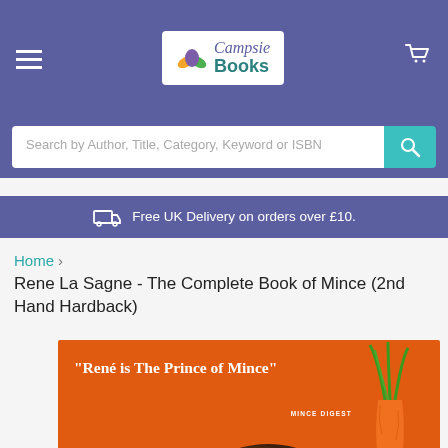[Figure (screenshot): Campsie Books website header with hamburger menu, logo, and cart icon on purple background]
Search by Author, Title, Category, Keyword or ISBN
Free UK Delivery on orders over £10.
Home > Rene La Sagne - The Complete Book of Mince (2nd Hand Hardback)
[Figure (photo): Book cover of The Complete Book of Mince by Rene La Sagne. Orange background with quote: "René is The Prince of Mince" MINCE DIGEST. A sliced red onion, a bowl of mince, and carrots are visible.]